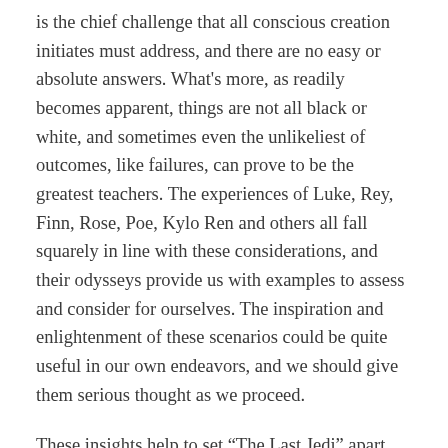is the chief challenge that all conscious creation initiates must address, and there are no easy or absolute answers. What's more, as readily becomes apparent, things are not all black or white, and sometimes even the unlikeliest of outcomes, like failures, can prove to be the greatest teachers. The experiences of Luke, Rey, Finn, Rose, Poe, Kylo Ren and others all fall squarely in line with these considerations, and their odysseys provide us with examples to assess and consider for ourselves. The inspiration and enlightenment of these scenarios could be quite useful in our own endeavors, and we should give them serious thought as we proceed.
These insights help to set “The Last Jedi” apart from most of its predecessors. There’s an intriguing ambiguity that flows through the narrative of this installment, making things a little less certain at times, something that diehard fans of the franchise may well find a little unnerving. However, given the intrinsic nature of the